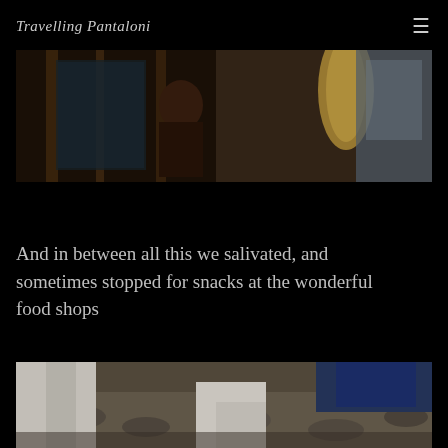Travelling Pantaloni
[Figure (photo): Interior scene with a person visible, dark wooden furnishings and glass display, with outdoor scenery visible through a window]
And in between all this we salivated, and sometimes stopped for snacks at the wonderful food shops
[Figure (photo): Close-up of feet and lower legs on a rocky ground surface, wearing white pants and blue top]